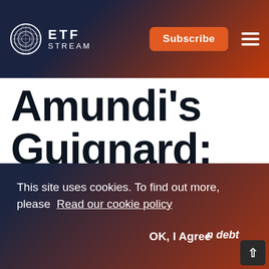ETF STREAM
Amundi's Guignard: Fixed income ESG ETF
This site uses cookies. To find out more, please Read our cookie policy
OK, I Agree
n debt
remains particularly challenging